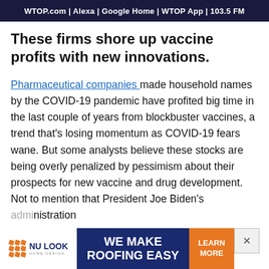WTOP.com | Alexa | Google Home | WTOP App | 103.5 FM
These firms shore up vaccine profits with new innovations.
Pharmaceutical companies made household names by the COVID-19 pandemic have profited big time in the last couple of years from blockbuster vaccines, a trend that's losing momentum as COVID-19 fears wane. But some analysts believe these stocks are being overly penalized by pessimism about their prospects for new vaccine and drug development. Not to mention that President Joe Biden's administration and $10
[Figure (advertisement): Nu Look Home Design advertisement banner reading 'WE MAKE ROOFING EASY' with Learn More button]